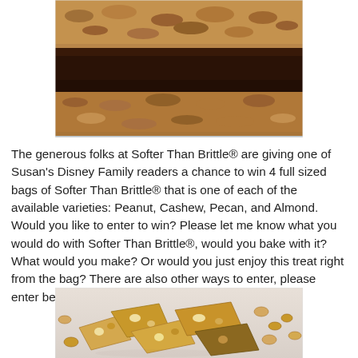[Figure (photo): Close-up photograph of stacked brownie bars with a caramel or nut topping, showing rich chocolate layers.]
The generous folks at Softer Than Brittle® are giving one of Susan's Disney Family readers a chance to win 4 full sized bags of Softer Than Brittle® that is one of each of the available varieties: Peanut, Cashew, Pecan, and Almond. Would you like to enter to win? Please let me know what you would do with Softer Than Brittle®, would you bake with it? What would you make? Or would you just enjoy this treat right from the bag? There are also other ways to enter, please enter below.
[Figure (photo): Photo of peanut brittle candy pieces scattered on a white surface with peanuts visible around them.]